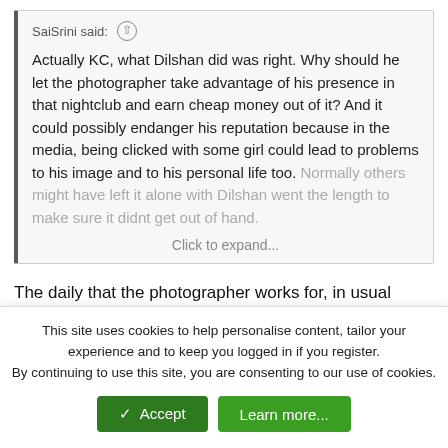SaiSrini said: ⊕ Actually KC, what Dilshan did was right. Why should he let the photographer take advantage of his presence in that nightclub and earn cheap money out of it? And it could possibly endanger his reputation because in the media, being clicked with some girl could lead to problems to his image and to his personal life too. Normally others might have left it alone with Dilshan went the length to make sure it didnt get out of hand. Click to expand...
The daily that the photographer works for, in usual circumstances, does not publish such pictures which might endanger the reputation of a celebrity.
And Dilshan has actually made things worse by chasing that photographer and threatening to smash his camera. You know
This site uses cookies to help personalise content, tailor your experience and to keep you logged in if you register.
By continuing to use this site, you are consenting to our use of cookies.